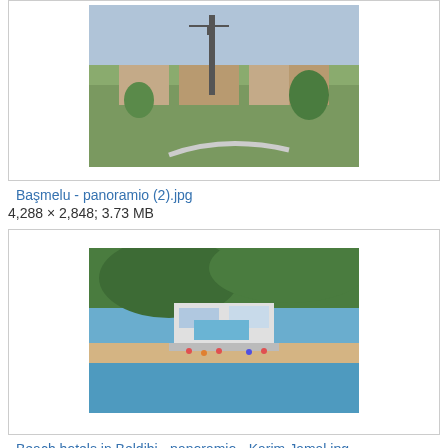[Figure (photo): Aerial/landscape photo of a rural village with buildings and green fields, partially cut off at top]
Başmelu - panoramio (2).jpg
4,288 × 2,848; 3.73 MB
[Figure (photo): Aerial photo of beach hotels in Beldibi showing a coastal resort with buildings, beach and turquoise sea]
Beach hotels in Beldibi - panoramio - Karim Jamal.jpg
1,200 × 800; 731 KB
[Figure (photo): Partially visible photo at the bottom of the page, cut off]